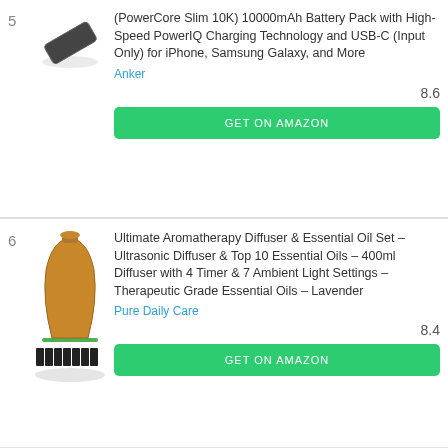5
[Figure (photo): Anker PowerCore Slim 10K battery pack product photo]
(PowerCore Slim 10K) 10000mAh Battery Pack with High-Speed PowerIQ Charging Technology and USB-C (Input Only) for iPhone, Samsung Galaxy, and More
Anker
8.6
GET ON AMAZON
6
[Figure (photo): Ultimate Aromatherapy Diffuser and Essential Oil Set product photo]
Ultimate Aromatherapy Diffuser & Essential Oil Set – Ultrasonic Diffuser & Top 10 Essential Oils – 400ml Diffuser with 4 Timer & 7 Ambient Light Settings – Therapeutic Grade Essential Oils – Lavender
Pure Daily Care
8.4
GET ON AMAZON